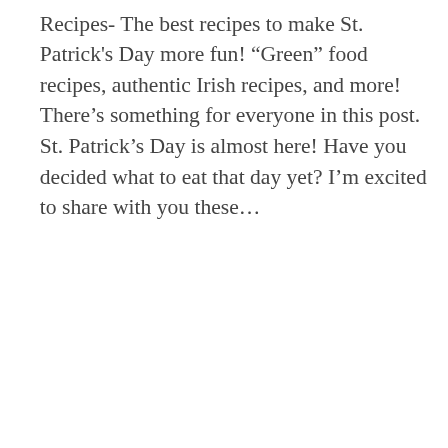Recipes- The best recipes to make St. Patrick's Day more fun! “Green” food recipes, authentic Irish recipes, and more! There’s something for everyone in this post. St. Patrick’s Day is almost here! Have you decided what to eat that day yet? I’m excited to share with you these…
READ MORE »
FILED UNDER: ST. PATRICK’S DAY
DETOX GREEN SMOOTHIE
[Figure (other): Advertisement banner at bottom with rainbow graphic and #ViralKindness text on dark background, with close button and weather icon]